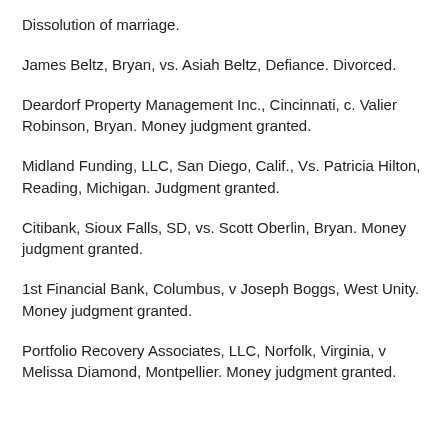Dissolution of marriage.
James Beltz, Bryan, vs. Asiah Beltz, Defiance. Divorced.
Deardorf Property Management Inc., Cincinnati, c. Valier Robinson, Bryan. Money judgment granted.
Midland Funding, LLC, San Diego, Calif., Vs. Patricia Hilton, Reading, Michigan. Judgment granted.
Citibank, Sioux Falls, SD, vs. Scott Oberlin, Bryan. Money judgment granted.
1st Financial Bank, Columbus, v Joseph Boggs, West Unity. Money judgment granted.
Portfolio Recovery Associates, LLC, Norfolk, Virginia, v Melissa Diamond, Montpellier. Money judgment granted.